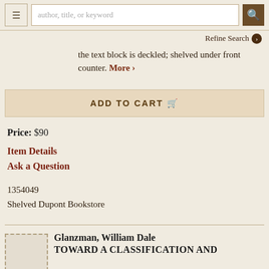author, title, or keyword [search bar] | Refine Search
the text block is deckled; shelved under front counter. More ›
ADD TO CART
Price: $90
Item Details
Ask a Question
1354049
Shelved Dupont Bookstore
Glanzman, William Dale
TOWARD A CLASSIFICATION AND